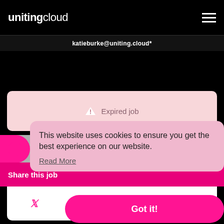[Figure (logo): unitingcloud logo in white on black background with hamburger menu icon top right]
katieburke@uniting.cloud*
Expired job
Back to job search
Share this job
[Figure (infographic): Social share icons: Twitter, Facebook, LinkedIn, Email in pink]
This website uses cookies to ensure you get the best experience on our website.
Read More
Got it!